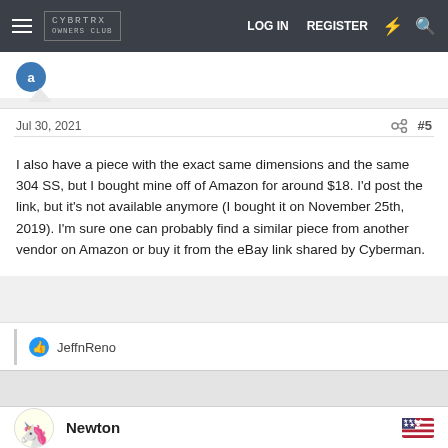CYBRTRX OWNERS CLUB  LOG IN  REGISTER
Jul 30, 2021  #5
I also have a piece with the exact same dimensions and the same 304 SS, but I bought mine off of Amazon for around $18. I'd post the link, but it's not available anymore (I bought it on November 25th, 2019). I'm sure one can probably find a similar piece from another vendor on Amazon or buy it from the eBay link shared by Cyberman.
JeffnReno
Newton